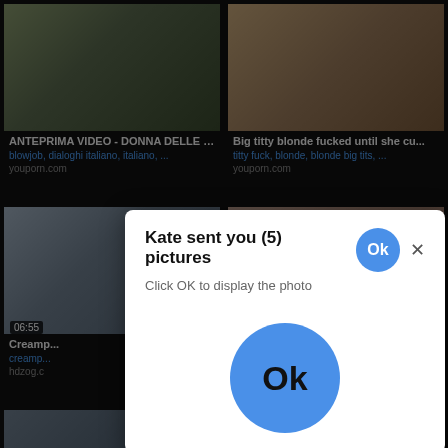[Figure (screenshot): Browser page showing adult video thumbnails grid with two columns. Top-left: 'ANTEPRIMA VIDEO - DONNA DELLE P...' with tags 'blowjob, dialoghi italiano, italiano, ...' from youporn.com. Top-right: 'Big titty blonde fucked until she cu...' with tags 'titty fuck, blonde, blonde big tits, ...' from youporn.com. Middle-left: video at beach scene, duration 06:55, 'Creamp...' label, hdzog.c. Middle-right: woman in bedroom. Bottom-left: duration 11:32, 'Girl gon...' / 'girl, girl' / youporn.com. Bottom-right: 'intern...' / 'nal cu...' / hdzog.com. Overlaid modal popup: 'Kate sent you (5) pictures' with 'Click OK to display the photo' and large blue Ok button.]